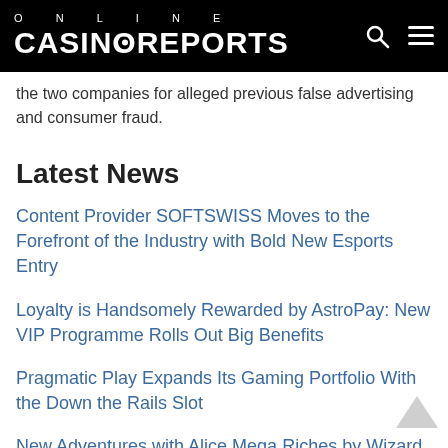ONLINE CASINOREPORTS
the two companies for alleged previous false advertising and consumer fraud.
Latest News
Content Provider SOFTSWISS Moves to the Forefront of the Industry with Bold New Esports Entry
Loyalty is Handsomely Rewarded by AstroPay: New VIP Programme Rolls Out Big Benefits
Pragmatic Play Expands Its Gaming Portfolio With the Down the Rails Slot
New Adventures with Alice Mega Riches by Wizard Games
Relax Gaming Releases Adrenaline-packed Dead